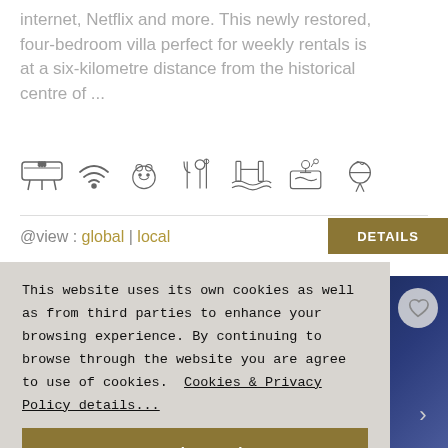internet, Netflix and more. This newly restored, four-bedroom villa perfect for weekly rentals is at a six-kilometre distance from the historical centre of ...
[Figure (infographic): Row of amenity icons: air conditioning, WiFi, pets allowed, dining/restaurant, swimming pool, spa/jacuzzi, bbq/cooking]
@view : global | local
DETAILS
This website uses its own cookies as well as from third parties to enhance your browsing experience. By continuing to browse through the website you are agree to use of cookies. Cookies & Privacy Policy details...
I understand